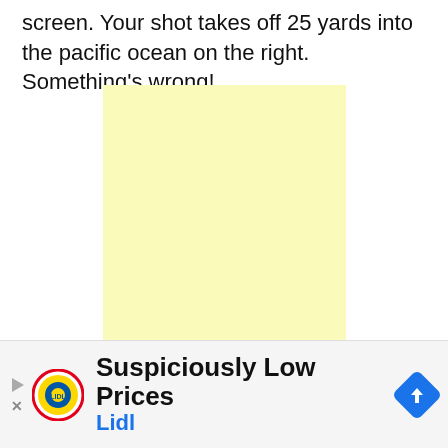screen. Your shot takes off 25 yards into the pacific ocean on the right. Something's wrong!
[Figure (other): Large pale yellow square placeholder/advertisement area]
[Figure (other): Green navigation bar partially visible with red circle button and grey close button]
[Figure (other): Lidl advertisement banner: Suspiciously Low Prices - Lidl, with Lidl logo and blue navigation arrow icon]